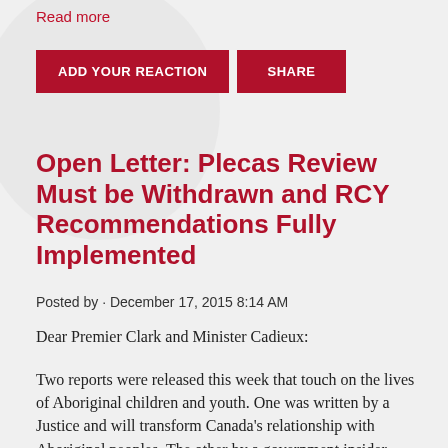Read more
ADD YOUR REACTION   SHARE
Open Letter: Plecas Review Must be Withdrawn and RCY Recommendations Fully Implemented
Posted by · December 17, 2015 8:14 AM
Dear Premier Clark and Minister Cadieux:
Two reports were released this week that touch on the lives of Aboriginal children and youth. One was written by a Justice and will transform Canada's relationship with Aboriginal peoples. The other by a government insider, flippantly dismisses the value of